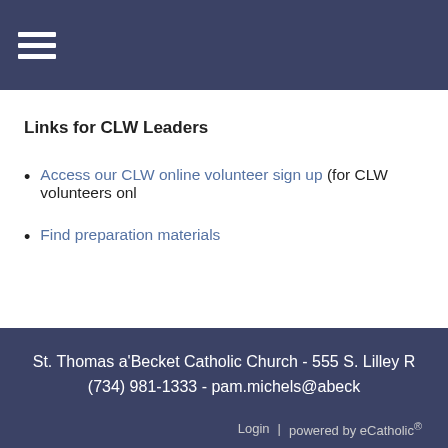Navigation menu (hamburger icon)
Links for CLW Leaders
Access our CLW online volunteer sign up (for CLW volunteers onl…
Find preparation materials
St. Thomas a'Becket Catholic Church - 555 S. Lilley R… (734) 981-1333 - pam.michels@abeck… Login | powered by eCatholic®